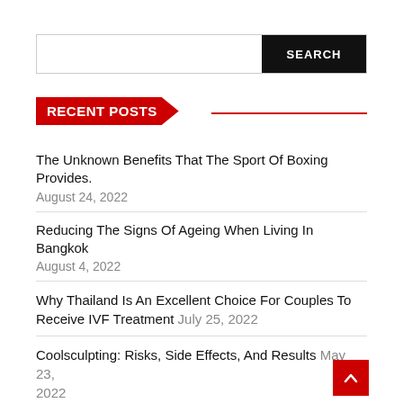[Figure (other): Search bar with text input and black SEARCH button]
RECENT POSTS
The Unknown Benefits That The Sport Of Boxing Provides. August 24, 2022
Reducing The Signs Of Ageing When Living In Bangkok August 4, 2022
Why Thailand Is An Excellent Choice For Couples To Receive IVF Treatment July 25, 2022
Coolsculpting: Risks, Side Effects, And Results May 23, 2022
How To Reduce The Chances Of A Scar When You Have A